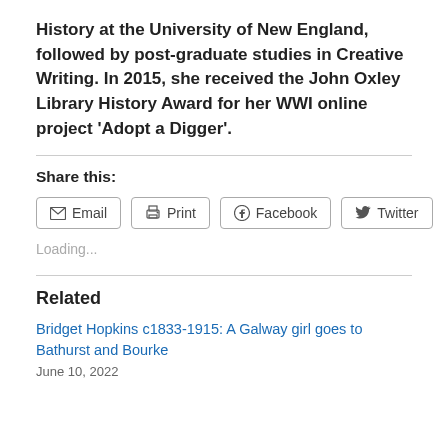History at the University of New England, followed by post-graduate studies in Creative Writing. In 2015, she received the John Oxley Library History Award for her WWI online project ‘Adopt a Digger’.
Share this:
Loading...
Related
Bridget Hopkins c1833-1915: A Galway girl goes to Bathurst and Bourke
June 10, 2022